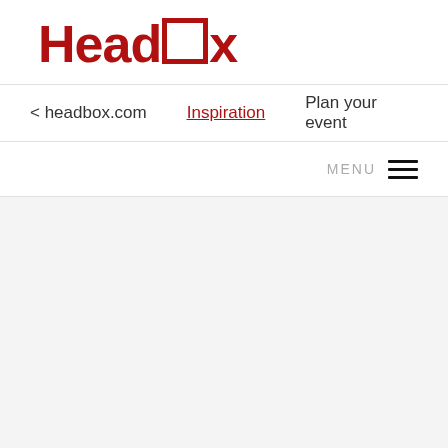[Figure (logo): HeadBox logo in dark red/crimson with a square box replacing the letter 'o' in Box]
< headbox.com   Inspiration   Plan your event
MENU ≡